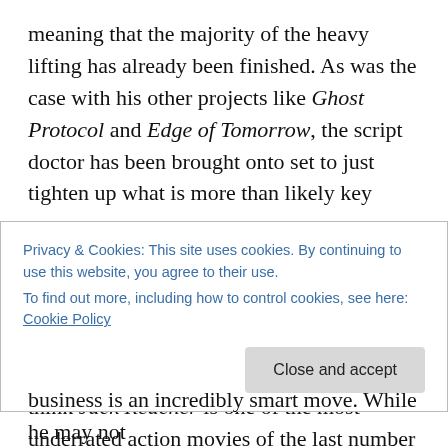meaning that the majority of the heavy lifting has already been finished. As was the case with his other projects like Ghost Protocol and Edge of Tomorrow, the script doctor has been brought onto set to just tighten up what is more than likely key sequences.
This is pretty awesome news. I have become a huge fan of McQuarrie very quickly thanks to his work on the most recent Mission: Impossible movies. I also think Jack Reacher is one of the most underrated action movies of the last number of years, and that was before I even knew
Privacy & Cookies: This site uses cookies. By continuing to use this website, you agree to their use.
To find out more, including how to control cookies, see here: Cookie Policy
Close and accept
business is an incredibly smart move. While he may not